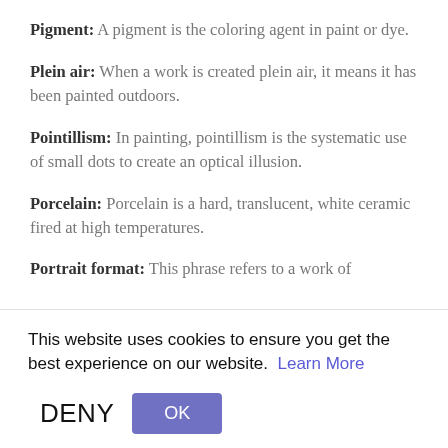Pigment: A pigment is the coloring agent in paint or dye.
Plein air: When a work is created plein air, it means it has been painted outdoors.
Pointillism: In painting, pointillism is the systematic use of small dots to create an optical illusion.
Porcelain: Porcelain is a hard, translucent, white ceramic fired at high temperatures.
Portrait format: This phrase refers to a work of
This website uses cookies to ensure you get the best experience on our website. Learn More
DENY  OK
Pottery: Pottery includes all wares made of clay